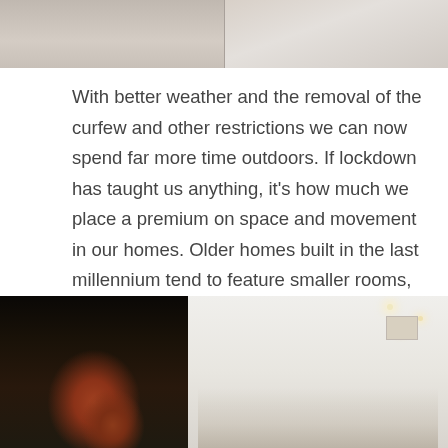[Figure (photo): Top portion of an interior photo showing white cabinetry and light wood flooring]
With better weather and the removal of the curfew and other restrictions we can now spend far more time outdoors. If lockdown has taught us anything, it’s how much we place a premium on space and movement in our homes. Older homes built in the last millennium tend to feature smaller rooms, boxy bathrooms and no real indoor/outdoor links.
[Figure (photo): Interior photo of a renovated home showing an open living area with a large pivot door opening to an outdoor verandah with brick column and garden view on the left, and a bright modern living room with white walls, recessed lighting, dark timber furniture and a framed artwork on the right]